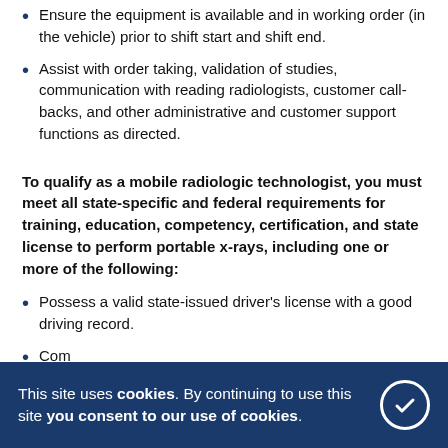Ensure the equipment is available and in working order (in the vehicle) prior to shift start and shift end.
Assist with order taking, validation of studies, communication with reading radiologists, customer call-backs, and other administrative and customer support functions as directed.
To qualify as a mobile radiologic technologist, you must meet all state-specific and federal requirements for training, education, competency, certification, and state license to perform portable x-rays, including one or more of the following:
Possess a valid state-issued driver's license with a good driving record.
Completion of an accredited radiologic technology program or equivalent
Registration with the American Registry of Radiologic